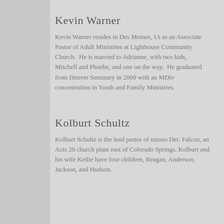Kevin Warner
Kevin Warner resides in Des Moines, IA as an Associate Pastor of Adult Ministries at Lighthouse Community Church. He is married to Adrianne, with two kids, Mitchell and Phoebe, and one on the way. He graduated from Denver Seminary in 2009 with an MDiv concentration in Youth and Family Ministries.
Kolburt Schultz
Kolburt Schultz is the lead pastor of missio Dei: Falcon, an Acts 29 church plant east of Colorado Springs. Kolburt and his wife Kellie have four children, Reagan, Anderson, Jackson, and Hudson.